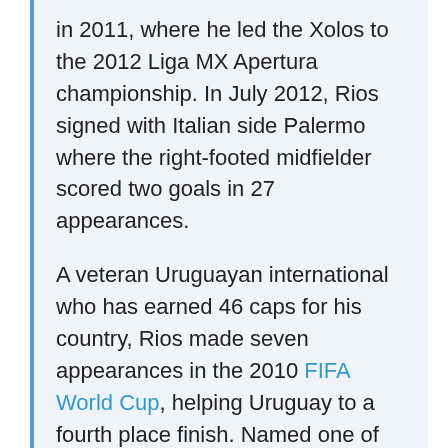in 2011, where he led the Xolos to the 2012 Liga MX Apertura championship. In July 2012, Rios signed with Italian side Palermo where the right-footed midfielder scored two goals in 27 appearances.
A veteran Uruguayan international who has earned 46 caps for his country, Rios made seven appearances in the 2010 FIFA World Cup, helping Uruguay to a fourth place finish. Named one of the three players over the age of 23-years-old for the 2012 London Olympics, Rios most recently competed in the 2013 FIFA Confederations Cup where he made three appearances.
And here is what the article says about Sherjill's departure:
The Fire additionally announced Wednesday that the...